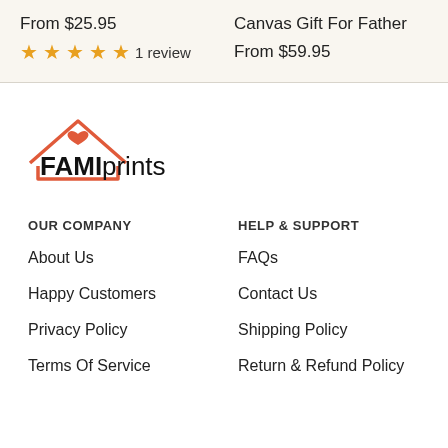From $25.95
★★★★★ 1 review
Canvas Gift For Father
From $59.95
[Figure (logo): FAMIprints logo with house icon in orange/salmon color]
OUR COMPANY
About Us
Happy Customers
Privacy Policy
Terms Of Service
HELP & SUPPORT
FAQs
Contact Us
Shipping Policy
Return & Refund Policy